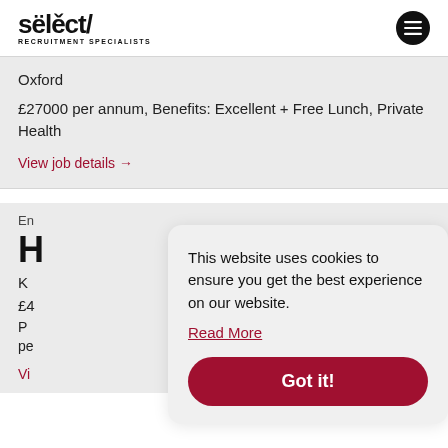select/ RECRUITMENT SPECIALISTS
Oxford
£27000 per annum, Benefits: Excellent + Free Lunch, Private Health
View job details →
En
H
K
£4
P pe
Vi
This website uses cookies to ensure you get the best experience on our website.
Read More
Got it!